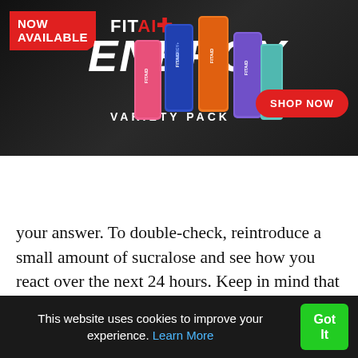[Figure (screenshot): FITAID Energy Variety Pack advertisement banner with dark background, NOW AVAILABLE red badge, FITAID+ ENERGY VARIETY PACK text, colorful energy drink cans, and SHOP NOW red button]
[Figure (logo): LIFEAID logo with red cross plus sign, navigation icons including search, cart, and hamburger menu]
your answer. To double-check, reintroduce a small amount of sucralose and see how you react over the next 24 hours. Keep in mind that if you've been using Splenda for some time, gastrointestinal problems and related health issues may take three months or longer to improve, as mentioned above. I would strongly suggest reseeding your gut with healthy bacteria
This website uses cookies to improve your experience. Learn More  Got It